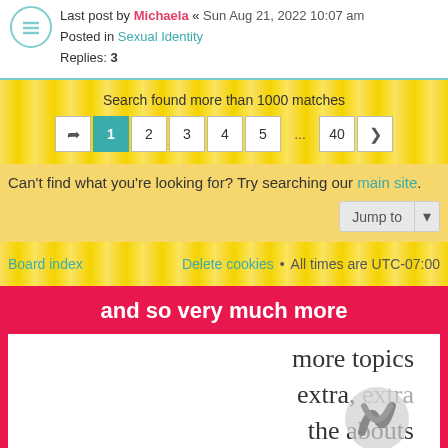Last post by Michaela « Sun Aug 21, 2022 10:07 am
Posted in Sexual Identity
Replies: 3
Search found more than 1000 matches
1 2 3 4 5 ... 40
Can't find what you're looking for? Try searching our main site.
Jump to
Board index   Delete cookies • All times are UTC-07:00
and so very much more
more topics
extra, extra
the abouts